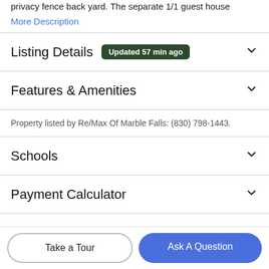privacy fence back yard. The separate 1/1 guest house
More Description
Listing Details  Updated 57 min ago
Features & Amenities
Property listed by Re/Max Of Marble Falls: (830) 798-1443.
Schools
Payment Calculator
Contact Agent
Take a Tour
Ask A Question